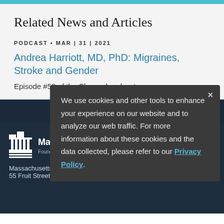Related News and Articles
PODCAST • MAR | 31 | 2021
Andrea Harriott, MD, PhD: Migraines, Stroke and Gender
Episode #58 of the Charged podcast
We use cookies and other tools to enhance your experience on our website and to analyze our web traffic. For more information about these cookies and the data collected, please refer to our Privacy Policy.
[Figure (logo): Massachusetts General Hospital building/columns logo icon in white]
Massachusetts General Hospital
Founding Member, Mass General Brigham
Massachusetts General Hospital
55 Fruit Street